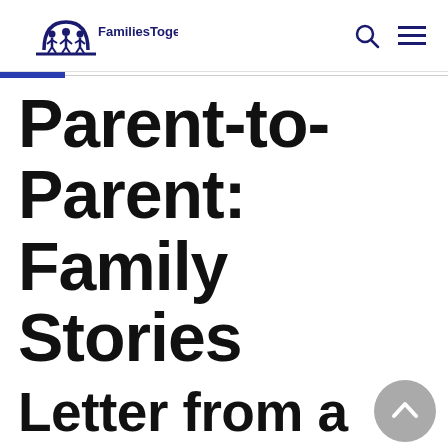FamiliesTogether, Inc.
Parent-to-Parent: Family Stories
Letter from a Referred Parent